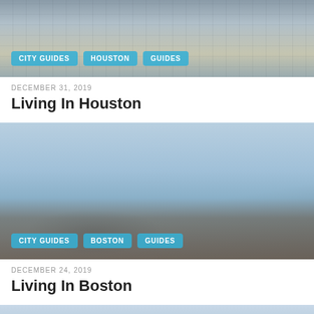[Figure (photo): Aerial photo of Houston city skyline with tall glass skyscrapers, viewed from above, with tags: CITY GUIDES, HOUSTON, GUIDES]
DECEMBER 31, 2019
Living In Houston
[Figure (photo): Aerial photo of Boston city skyline with the Zakim bridge and waterfront, blue sky with clouds, with tags: CITY GUIDES, BOSTON, GUIDES]
DECEMBER 24, 2019
Living In Boston
[Figure (photo): Partial aerial photo of a city skyline, partially visible at bottom of page]